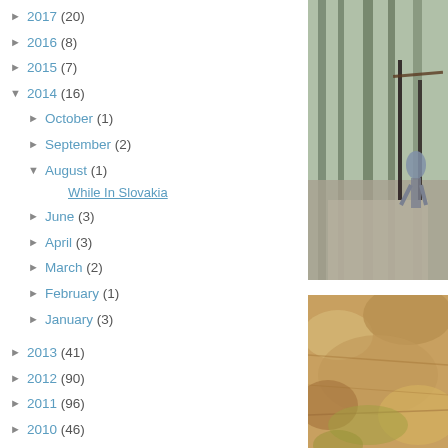► 2017 (20)
► 2016 (8)
► 2015 (7)
▼ 2014 (16)
► October (1)
► September (2)
▼ August (1)
While In Slovakia
► June (3)
► April (3)
► March (2)
► February (1)
► January (3)
► 2013 (41)
► 2012 (90)
► 2011 (96)
► 2010 (46)
[Figure (photo): Person walking on a gravel path in a forest with wooden fence/railing]
[Figure (photo): Close-up of rocky or sandy textured surface with warm golden and brown tones]